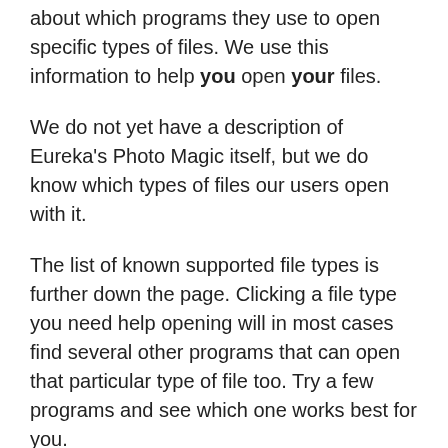about which programs they use to open specific types of files. We use this information to help you open your files.
We do not yet have a description of Eureka's Photo Magic itself, but we do know which types of files our users open with it.
The list of known supported file types is further down the page. Clicking a file type you need help opening will in most cases find several other programs that can open that particular type of file too. Try a few programs and see which one works best for you.
Find the official Eureka's Photo Magic download